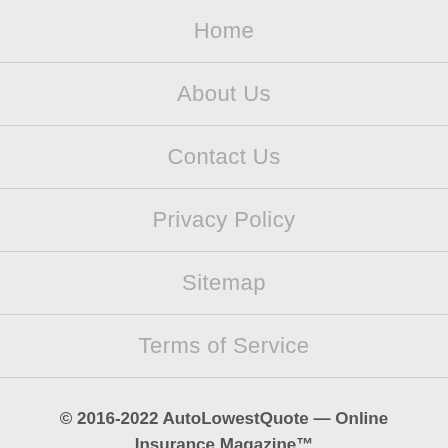Home
About Us
Contact Us
Privacy Policy
Sitemap
Terms of Service
© 2016-2022 AutoLowestQuote — Online Insurance Magazine™